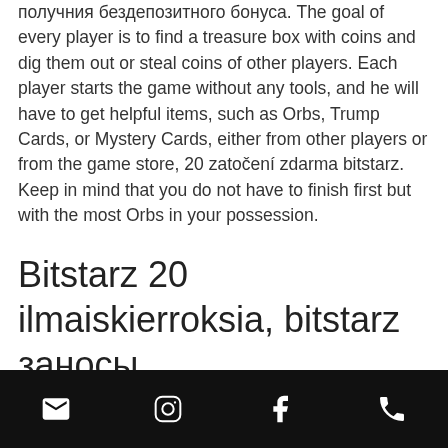получния бездепозитного бонуса. The goal of every player is to find a treasure box with coins and dig them out or steal coins of other players. Each player starts the game without any tools, and he will have to get helpful items, such as Orbs, Trump Cards, or Mystery Cards, either from other players or from the game store, 20 zatočení zdarma bitstarz. Keep in mind that you do not have to finish first but with the most Orbs in your possession.
Bitstarz 20 ilmaiskierroksia, bitstarz заносы
Alien Run features an extraterrestrial hero called Daniel D'Alien, which has to jump, flip, flap, dodge, and learn new skills through hundreds of custom-created levels, bitstarz
email | instagram | facebook | phone